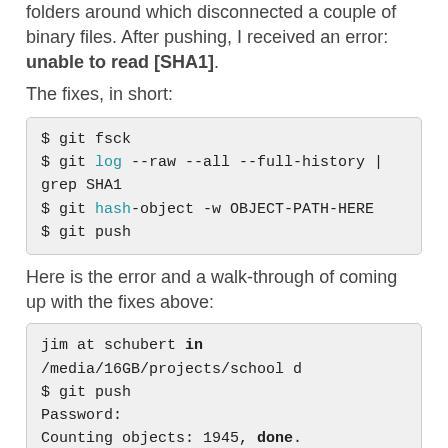private git repo. In doing so, I moved some folders around which disconnected a couple of binary files. After pushing, I received an error: unable to read [SHA1].
The fixes, in short:
$ git fsck
$ git log --raw --all --full-history | grep SHA1
$ git hash-object -w OBJECT-PATH-HERE
$ git push
Here is the error and a walk-through of coming up with the fixes above:
jim at schubert in /media/16GB/projects/school ...
$ git push
Password:
Counting objects: 1945, done.